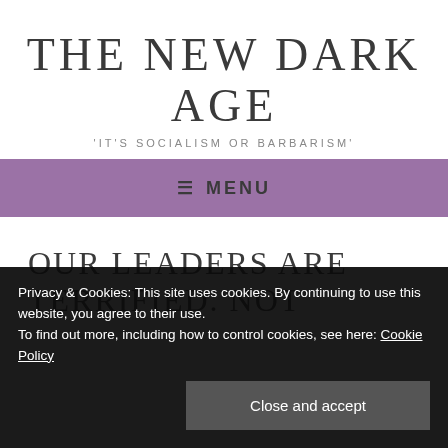THE NEW DARK AGE
'IT'S SOCIALISM OR BARBARISM'
≡ MENU
OUR LEADERS ARE TERRIFIED. NOT
Privacy & Cookies: This site uses cookies. By continuing to use this website, you agree to their use.
To find out more, including how to control cookies, see here: Cookie Policy
Close and accept